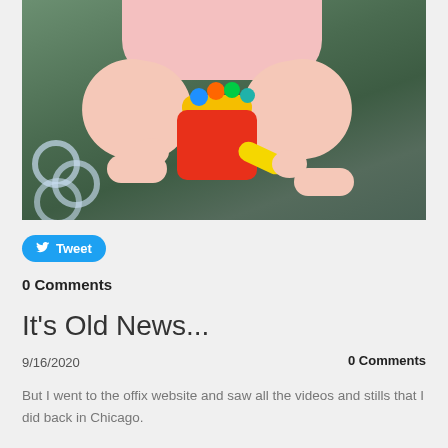[Figure (photo): Baby sitting on green mat, playing with colorful Fisher-Price toy. Baby wearing pink shirt. Plastic rings visible on left side.]
Tweet
0 Comments
It's Old News...
9/16/2020
0 Comments
But I went to the offix website and saw all the videos and stills that I did back in Chicago.